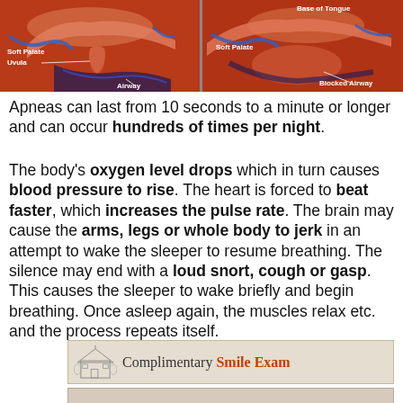[Figure (illustration): Two anatomical cross-section diagrams of the airway. Left diagram labels: Soft Palate, Uvula, Airway (open). Right diagram labels: Base of Tongue, Soft Palate, Blocked Airway.]
Apneas can last from 10 seconds to a minute or longer and can occur hundreds of times per night.
The body's oxygen level drops which in turn causes blood pressure to rise. The heart is forced to beat faster, which increases the pulse rate. The brain may cause the arms, legs or whole body to jerk in an attempt to wake the sleeper to resume breathing. The silence may end with a loud snort, cough or gasp. This causes the sleeper to wake briefly and begin breathing. Once asleep again, the muscles relax etc. and the process repeats itself.
[Figure (illustration): Banner with building/house logo and text: Complimentary Smile Exam]
[Figure (illustration): Partial banner image at bottom of page]